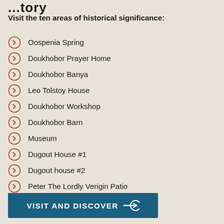...tory
Visit the ten areas of historical significance:
Oospenia Spring
Doukhobor Prayer Home
Doukhobor Banya
Leo Tolstoy House
Doukhobor Workshop
Doukhobor Barn
Museum
Dugout House #1
Dugout house #2
Peter The Lordly Verigin Patio
VISIT AND DISCOVER →